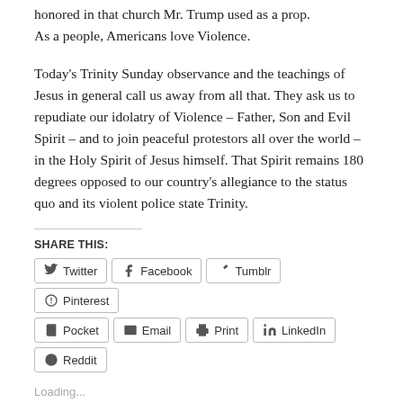honored in that church Mr. Trump used as a prop. As a people, Americans love Violence.
Today’s Trinity Sunday observance and the teachings of Jesus in general call us away from all that. They ask us to repudiate our idolatry of Violence – Father, Son and Evil Spirit – and to join peaceful protestors all over the world – in the Holy Spirit of Jesus himself. That Spirit remains 180 degrees opposed to our country’s allegiance to the status quo and its violent police state Trinity.
SHARE THIS:
Twitter Facebook Tumblr Pinterest Pocket Email Print LinkedIn Reddit
Loading...